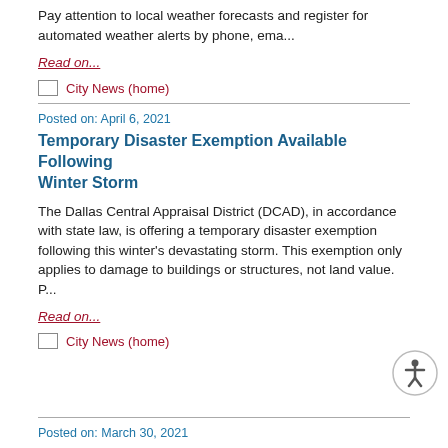Pay attention to local weather forecasts and register for automated weather alerts by phone, ema...
Read on...
City News (home)
Posted on: April 6, 2021
Temporary Disaster Exemption Available Following Winter Storm
The Dallas Central Appraisal District (DCAD), in accordance with state law, is offering a temporary disaster exemption following this winter's devastating storm. This exemption only applies to damage to buildings or structures, not land value. P...
Read on...
City News (home)
Posted on: March 30, 2021